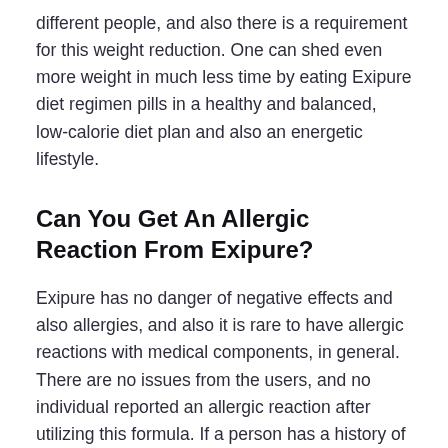different people, and also there is a requirement for this weight reduction. One can shed even more weight in much less time by eating Exipure diet regimen pills in a healthy and balanced, low-calorie diet plan and also an energetic lifestyle.
Can You Get An Allergic Reaction From Exipure?
Exipure has no danger of negative effects and also allergies, and also it is rare to have allergic reactions with medical components, in general. There are no issues from the users, and no individual reported an allergic reaction after utilizing this formula. If a person has a history of food-borne allergies, it is much better to talk to a